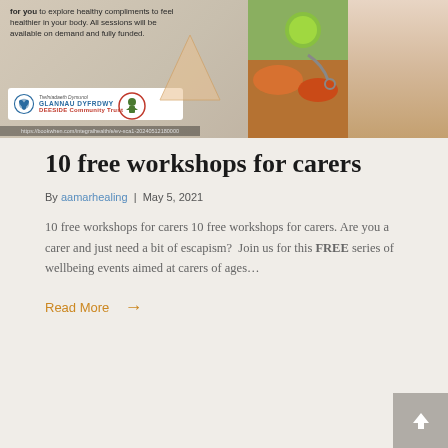[Figure (photo): Health workshop promotional banner image showing text about healthy compliments, sessions on demand and fully funded, with Deeside Community Trust logo, a URL bookwhen.com/integralhealth link, and photos of a person and food/vegetables on the right side]
10 free workshops for carers
By aamarhealing | May 5, 2021
10 free workshops for carers 10 free workshops for carers. Are you a carer and just need a bit of escapism?  Join us for this FREE series of wellbeing events aimed at carers of ages…
Read More →